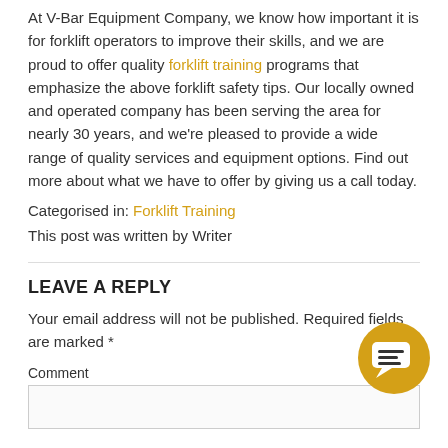At V-Bar Equipment Company, we know how important it is for forklift operators to improve their skills, and we are proud to offer quality forklift training programs that emphasize the above forklift safety tips. Our locally owned and operated company has been serving the area for nearly 30 years, and we're pleased to provide a wide range of quality services and equipment options. Find out more about what we have to offer by giving us a call today.
Categorised in: Forklift Training
This post was written by Writer
LEAVE A REPLY
Your email address will not be published. Required fields are marked *
Comment
[Figure (illustration): Yellow circular chat bubble icon with two speech bubbles inside, positioned bottom right]